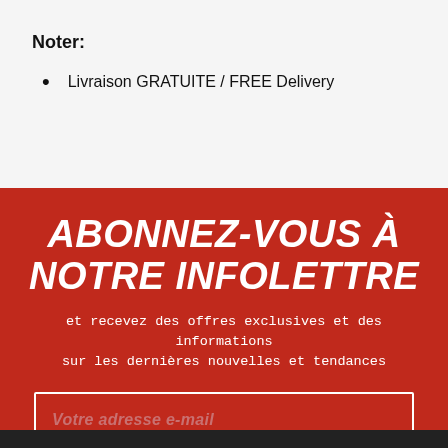Noter:
Livraison GRATUITE / FREE Delivery
ABONNEZ-VOUS À NOTRE INFOLETTRE
et recevez des offres exclusives et des informations sur les dernières nouvelles et tendances
Votre adresse e-mail